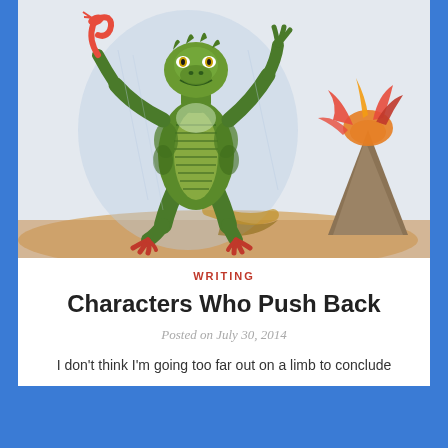[Figure (illustration): Hand-drawn colored pencil illustration of a green lizard-like humanoid creature standing upright with arms raised, holding what appears to be a snake. The creature has a scaly green and yellow body with ridged abdomen. In the background is a volcano erupting with orange and red lava, and a sandy ground. Blue pencil shading fills the background sky.]
WRITING
Characters Who Push Back
Posted on July 30, 2014
I don't think I'm going too far out on a limb to conclude